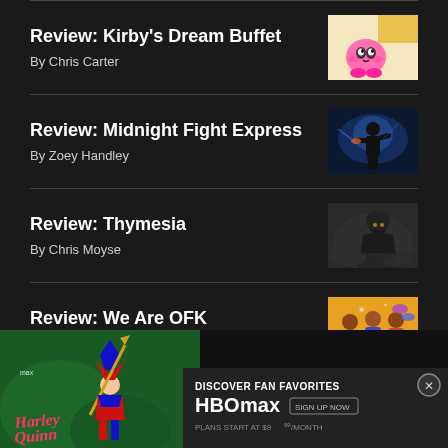Review: Kirby's Dream Buffet — By Chris Carter
Review: Midnight Fight Express — By Zoey Handley
Review: Thymesia — By Chris Moyse
Review: We Are OFK — By Noelle Warner
[Figure (infographic): HBO Max advertisement banner featuring Harley Quinn character with text: DISCOVER FAN FAVORITES, HBO max, SIGN UP NOW, PLANS START AT $9 per month]